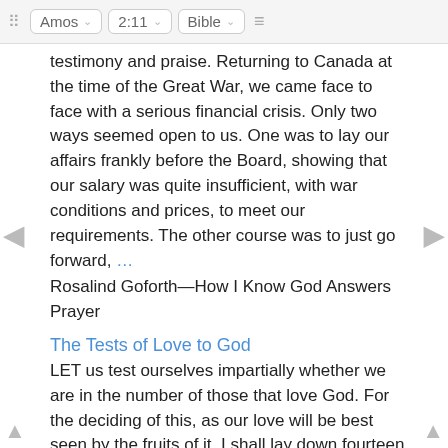⠿  Amos ∨   2:11 ∨   Bible ∨  ≡
testimony and praise. Returning to Canada at the time of the Great War, we came face to face with a serious financial crisis. Only two ways seemed open to us. One was to lay our affairs frankly before the Board, showing that our salary was quite insufficient, with war conditions and prices, to meet our requirements. The other course was to just go forward, …
Rosalind Goforth—How I Know God Answers Prayer
The Tests of Love to God
LET us test ourselves impartially whether we are in the number of those that love God. For the deciding of this, as our love will be best seen by the fruits of it, I shall lay down fourteen signs, or fruits, of love to God, and it concerns us to search carefully whether any of these fruits grow in our garden. 1. The first